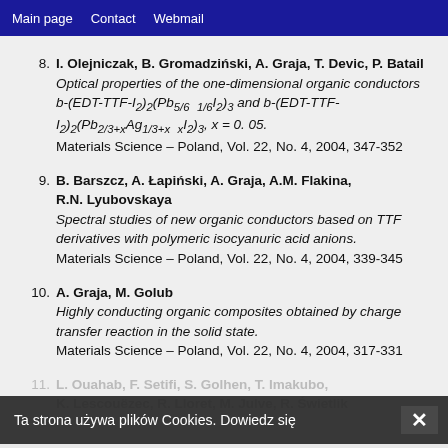Main page   Contact   Webmail
8. I. Olejniczak, B. Gromadziński, A. Graja, T. Devic, P. Batail — Optical properties of the one-dimensional organic conductors b-(EDT-TTF-I2)2(Pb5/6  1/6I2)3 and b-(EDT-TTF-I2)2(Pb2/3+xAg1/3+x  xI2)3, x = 0. 05. Materials Science – Poland, Vol. 22, No. 4, 2004, 347-352
9. B. Barszcz, A. Łapiński, A. Graja, A.M. Flakina, R.N. Lyubovskaya — Spectral studies of new organic conductors based on TTF derivatives with polymeric isocyanuric acid anions. Materials Science – Poland, Vol. 22, No. 4, 2004, 339-345
10. A. Graja, M. Golub — Highly conducting organic composites obtained by charge transfer reaction in the solid state. Materials Science – Poland, Vol. 22, No. 4, 2004, 317-331
11. L. Ouahab, F. Setifi, S. Golhen, T. Imakubo, K. Lescouëzec, R. Lloret, M. Julve, R. Świetlik ...